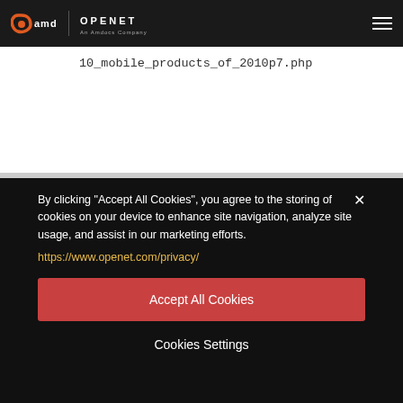[Figure (logo): Amdocs | Openet company logo on dark header bar with hamburger menu icon]
10_mobile_products_of_2010p7.php
By clicking "Accept All Cookies", you agree to the storing of cookies on your device to enhance site navigation, analyze site usage, and assist in our marketing efforts.
https://www.openet.com/privacy/
Accept All Cookies
Cookies Settings